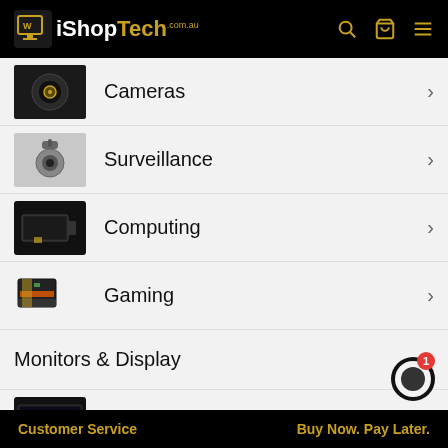iShopTech.com.au
Cameras
Surveillance
Computing
Gaming
Monitors & Display
TV & Soundbars
Order Tracking
Customer Service   Buy Now. Pay Later.